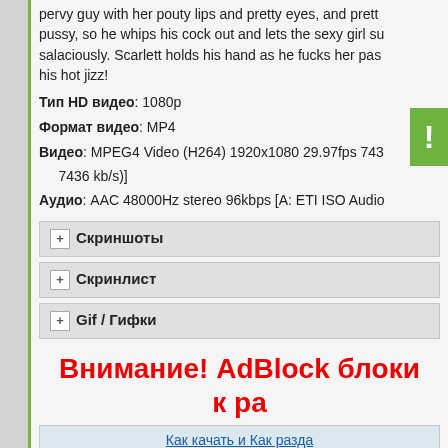pervy guy with her pouty lips and pretty eyes, and pretty pussy, so he whips his cock out and lets the sexy girl su salaciously. Scarlett holds his hand as he fucks her pas his hot jizz!
Тип HD видео: 1080p
Формат видео: MP4
Видео: MPEG4 Video (H264) 1920x1080 29.97fps 7436 kb/s)]
Аудио: AAC 48000Hz stereo 96kbps [A: ETI ISO Audi
+ Скриншоты
+ Скринлист
+ Gif / Гифки
Внимание! AdBlock блоки к ра
| Как качать и Как разда |
| --- |
| Трекер: | [ 14-Фев-2021 14:46 ] |
| Размер: | 2.72 GB |